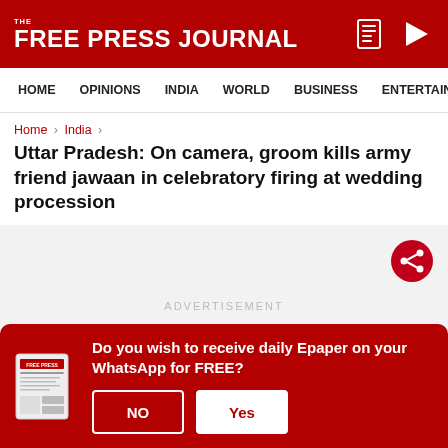THE FREE PRESS JOURNAL
HOME   OPINIONS   INDIA   WORLD   BUSINESS   ENTERTAIN
Home › India ›
Uttar Pradesh: On camera, groom kills army friend jawaan in celebratory firing at wedding procession
[Figure (other): Advertisement placeholder area with share button]
Do you wish to receive daily Epaper on your WhatsApp for FREE?